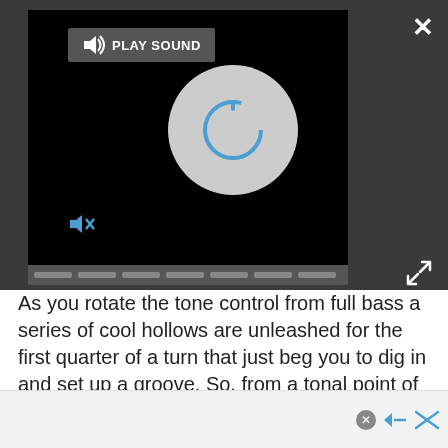[Figure (screenshot): A media player UI with dark background showing a 'PLAY SOUND' button with speaker icon, a large circular loading/power button in the center, a mute icon, progress bar segments, a close (X) button top right, and an expand icon bottom right.]
As you rotate the tone control from full bass a series of cool hollows are unleashed for the first quarter of a turn that just beg you to dig in and set up a groove. So, from a tonal point of view it's far more Music Man in character than Precision and, for those of you that like the Flea connection, this is far more like his sound in the early days of the Chili Peppers.
As you progress with the tone control the sounds smooth down for a more solid rock sound before arriving at the harder-edged end where the sound